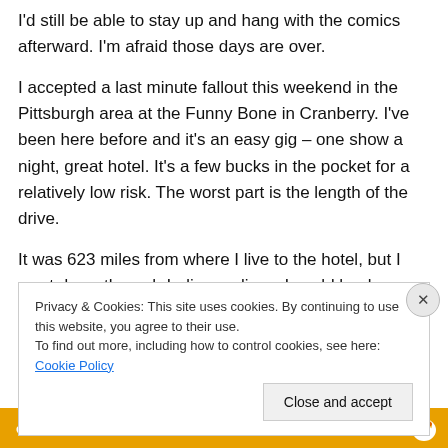I'd still be able to stay up and hang with the comics afterward. I'm afraid those days are over.
I accepted a last minute fallout this weekend in the Pittsburgh area at the Funny Bone in Cranberry. I've been here before and it's an easy gig – one show a night, great hotel. It's a few bucks in the pocket for a relatively low risk. The worst part is the length of the drive.
It was 623 miles from where I live to the hotel, but I went down through Indianapolis so I could hook up with my friend Greg Phelps. He's going to be handling the
Privacy & Cookies: This site uses cookies. By continuing to use this website, you agree to their use.
To find out more, including how to control cookies, see here: Cookie Policy
Close and accept
[Figure (other): Bottom banner with DuckDuckGo branding: orange background with text 'email with more privacy.' and duck logo icon]